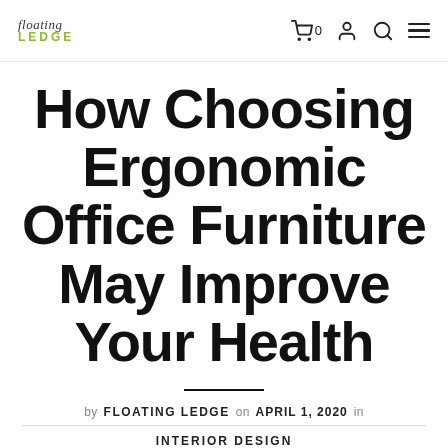Floating Ledge — navigation bar with logo, cart, account, search, menu icons
How Choosing Ergonomic Office Furniture May Improve Your Health
by FLOATING LEDGE on APRIL 1, 2020 in
INTERIOR DESIGN